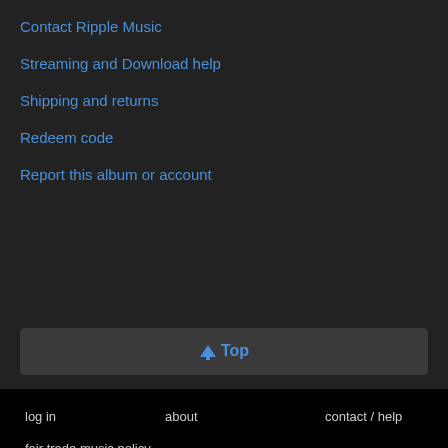Contact Ripple Music
Streaming and Download help
Shipping and returns
Redeem code
Report this album or account
⬆ Top
log in  about  contact / help  language: English  fair trade music policy  terms of use  privacy  copyright policy  bandcamp  switch to desktop view